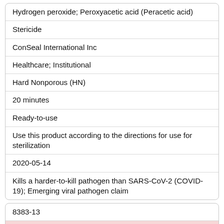| Hydrogen peroxide; Peroxyacetic acid (Peracetic acid) |
| Stericide |
| ConSeal International Inc |
| Healthcare; Institutional |
| Hard Nonporous (HN) |
| 20 minutes |
| Ready-to-use |
| Use this product according to the directions for use for sterilization |
| 2020-05-14 |
| Kills a harder-to-kill pathogen than SARS-CoV-2 (COVID-19); Emerging viral pathogen claim |
| 8383-13 |
| Increased Risk |
| Hydrogen peroxide; Peroxyacetic acid (Peracetic acid) |